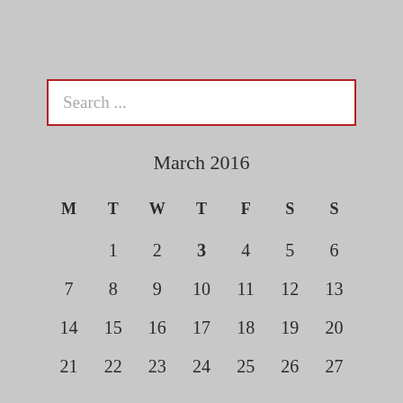Search ...
| M | T | W | T | F | S | S |
| --- | --- | --- | --- | --- | --- | --- |
|  | 1 | 2 | 3 | 4 | 5 | 6 |
| 7 | 8 | 9 | 10 | 11 | 12 | 13 |
| 14 | 15 | 16 | 17 | 18 | 19 | 20 |
| 21 | 22 | 23 | 24 | 25 | 26 | 27 |
|  |  |  |  |  |  |  |